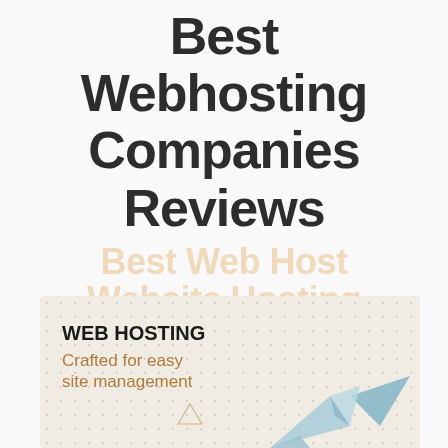Best Webhosting Companies Reviews
Best Web
Website Hosting
[Figure (illustration): A promotional card with dotted background showing 'WEB HOSTING - Crafted for easy site management' with an origami paper crane illustration in light blue.]